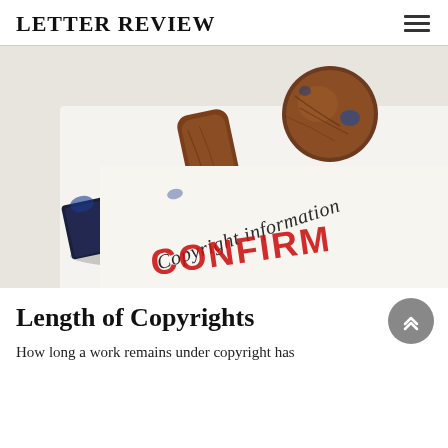LETTER REVIEW
[Figure (photo): A wooden rubber stamp with red ink spelling CONFIRM resting on a white paper document with text reading 'Copyright information']
Length of Copyrights
How long a work remains under copyright has